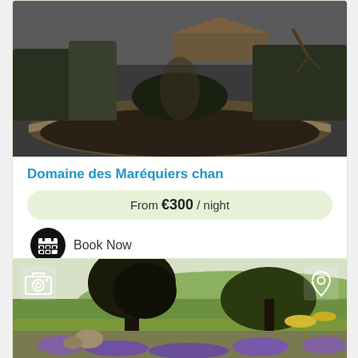[Figure (photo): Dark moody photo of a stone-edged sunken garden area with dry grasses and a thatched building in background]
Domaine des Maréquiers chan
From €300 / night
Book Now
[Figure (photo): Bright garden landscape photo with large tree, purple wildflowers and green countryside in background. Camera and location pin icons overlay the top corners.]